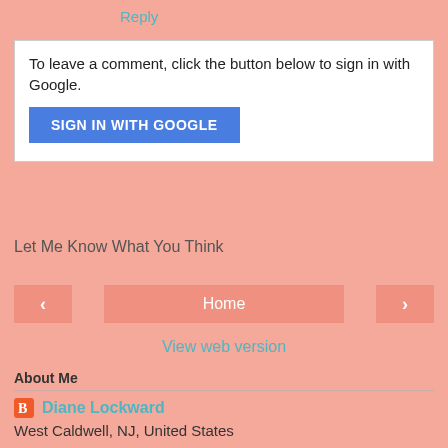Reply
To leave a comment, click the button below to sign in with Google.
SIGN IN WITH GOOGLE
Let Me Know What You Think
‹
Home
›
View web version
About Me
Diane Lockward
West Caldwell, NJ, United States
I live and write poetry in New Jersey. I am the author of four full-length poetry collections, most recently The Uneaten Carrots of Atonement. My earlier books are Temptation by Water (Wind Pub, 2010), What Feeds Us, which received the 2006 Quentin B...